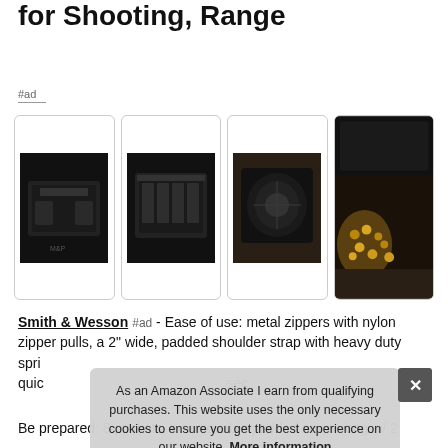for Shooting, Range
#ad
[Figure (photo): Four product photos of a black tactical range bag: front view, front with pockets open, top-down interior view, and close-up of an open side pocket with brass/ammunition visible.]
Smith & Wesson #ad - Ease of use: metal zippers with nylon zipper pulls, a 2" wide, padded shoulder strap with heavy duty spring clips for quick access, secondary sec
Be prepared: 8 pockets, a removable padded ammo bag w/ 2
As an Amazon Associate I earn from qualifying purchases. This website uses the only necessary cookies to ensure you get the best experience on our website. More information